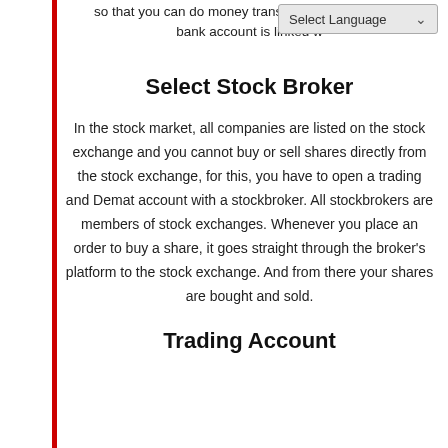so that you can do money transactions. The savings bank account is linked w
[Figure (screenshot): Select Language dropdown UI element]
Select Stock Broker
In the stock market, all companies are listed on the stock exchange and you cannot buy or sell shares directly from the stock exchange, for this, you have to open a trading and Demat account with a stockbroker. All stockbrokers are members of stock exchanges. Whenever you place an order to buy a share, it goes straight through the broker's platform to the stock exchange. And from there your shares are bought and sold.
Trading Account